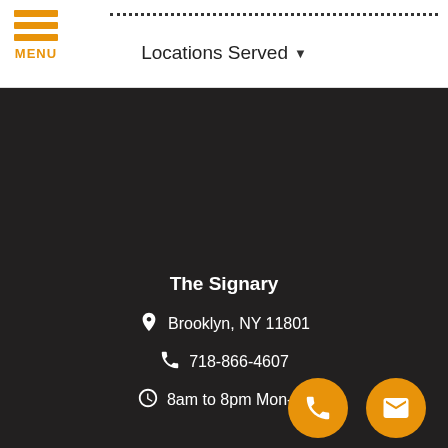MENU | Locations Served
[Figure (screenshot): Dark background section showing business contact information for The Signary]
The Signary
Brooklyn, NY 11801
718-866-4607
8am to 8pm Mon-Fri